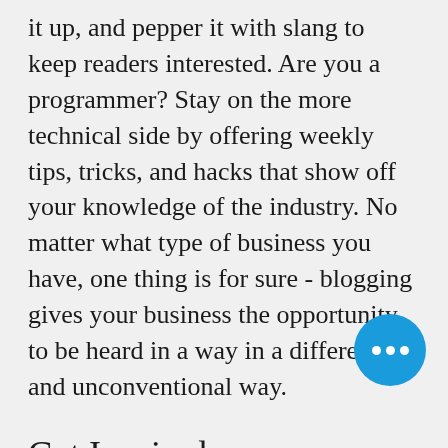it up, and pepper it with slang to keep readers interested. Are you a programmer? Stay on the more technical side by offering weekly tips, tricks, and hacks that show off your knowledge of the industry. No matter what type of business you have, one thing is for sure - blogging gives your business the opportunity to be heard in a way in a different and unconventional way.
Get Inspired
To keep up with all things Wix, including website building tips and interesting articles, head to the Wix Blog. You may even find yourself inspired to start